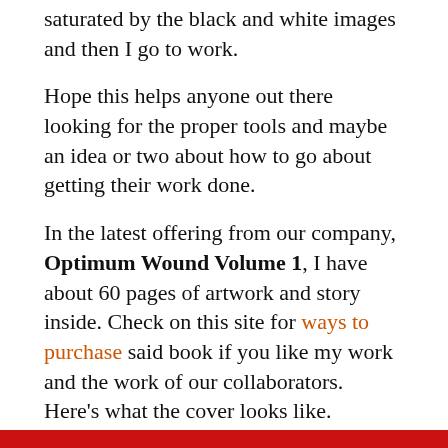saturated by the black and white images and then I go to work.
Hope this helps anyone out there looking for the proper tools and maybe an idea or two about how to go about getting their work done.
In the latest offering from our company, Optimum Wound Volume 1, I have about 60 pages of artwork and story inside. Check on this site for ways to purchase said book if you like my work and the work of our collaborators. Here’s what the cover looks like.